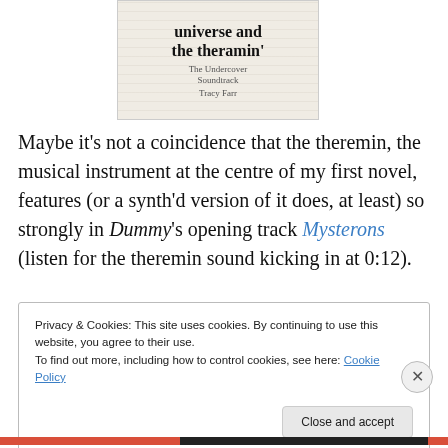[Figure (illustration): Book cover showing partial text: 'universe and the theramin'' with subtitle 'The Undercover Soundtrack' and author 'Tracy Farr']
Maybe it's not a coincidence that the theremin, the musical instrument at the centre of my first novel, features (or a synth'd version of it does, at least) so strongly in Dummy's opening track Mysterons (listen for the theremin sound kicking in at 0:12).
Privacy & Cookies: This site uses cookies. By continuing to use this website, you agree to their use.
To find out more, including how to control cookies, see here: Cookie Policy